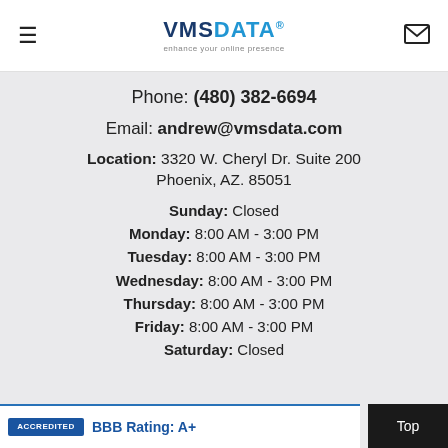VMS DATA — enhance your online presence
Phone: (480) 382-6694
Email: andrew@vmsdata.com
Location: 3320 W. Cheryl Dr. Suite 200 Phoenix, AZ. 85051
Sunday: Closed
Monday: 8:00 AM - 3:00 PM
Tuesday: 8:00 AM - 3:00 PM
Wednesday: 8:00 AM - 3:00 PM
Thursday: 8:00 AM - 3:00 PM
Friday: 8:00 AM - 3:00 PM
Saturday: Closed
BBB Rating: A+